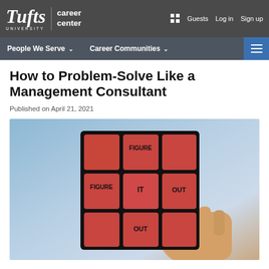Tufts University | career center — Guests  Log in  Sign up
People We Serve ∨   Career Communities ∨
How to Problem-Solve Like a Management Consultant
Published on April 21, 2021
[Figure (photo): A hand holding a Rubik's cube with red tiles. Several tiles have text reading FIGURE, IT, OUT in bold black letters, forming the phrase FIGURE IT OUT.]